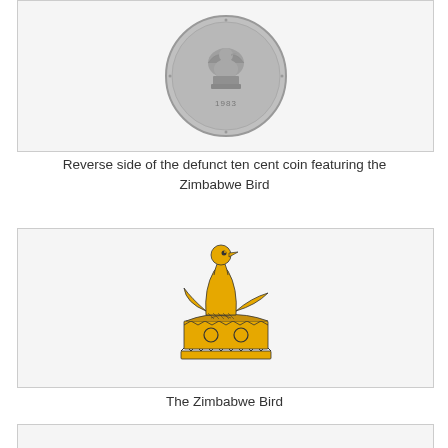[Figure (photo): Reverse side of a defunct ten cent coin featuring the Zimbabwe Bird, showing a silver coin with a bird image and the year 1983]
Reverse side of the defunct ten cent coin featuring the Zimbabwe Bird
[Figure (illustration): Illustration of the Zimbabwe Bird - a golden/yellow stylized bird perched on a pedestal with geometric patterns]
The Zimbabwe Bird
[Figure (photo): Black and white photograph of what appears to be a stone carving or artifact, partially visible at the bottom of the page]